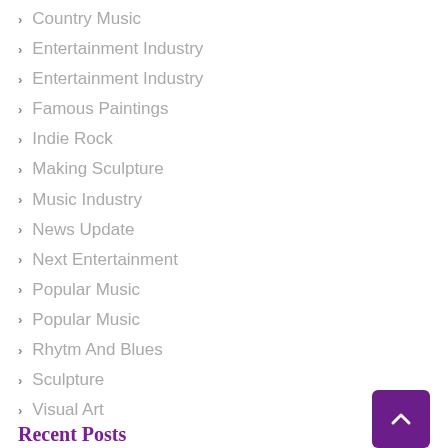Country Music
Entertainment Industry
Entertainment Industry
Famous Paintings
Indie Rock
Making Sculpture
Music Industry
News Update
Next Entertainment
Popular Music
Popular Music
Rhytm And Blues
Sculpture
Visual Art
Recent Posts